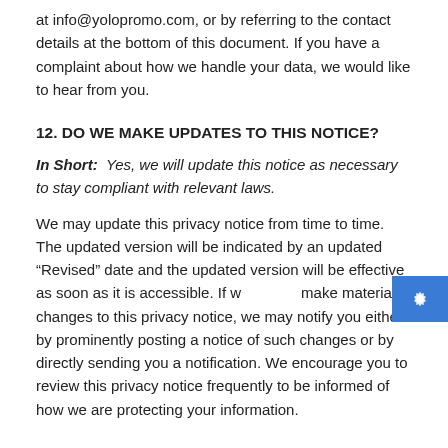at info@yolopromo.com, or by referring to the contact details at the bottom of this document. If you have a complaint about how we handle your data, we would like to hear from you.
12. DO WE MAKE UPDATES TO THIS NOTICE?
In Short:  Yes, we will update this notice as necessary to stay compliant with relevant laws.
We may update this privacy notice from time to time. The updated version will be indicated by an updated “Revised” date and the updated version will be effective as soon as it is accessible. If we make material changes to this privacy notice, we may notify you either by prominently posting a notice of such changes or by directly sending you a notification. We encourage you to review this privacy notice frequently to be informed of how we are protecting your information.
13. HOW CAN YOU CONTACT US ABOUT THIS NOTICE?
If you have questions or comments about this notice, you may contact our Data Protection Officer (DPO), Michael D'Angola, by email at info@yolopromo.com, or by post to: